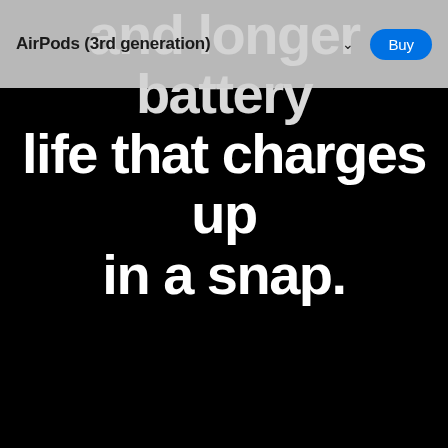AirPods (3rd generation) | Buy
and longer battery life that charges up in a snap.